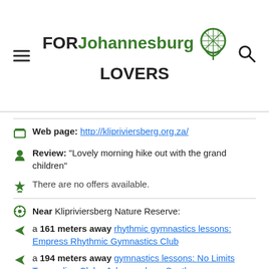FOR Johannesburg LOVERS
Web page: http://klipriviersberg.org.za/
Review: "Lovely morning hike out with the grand children"
There are no offers available.
Near Klipriviersberg Nature Reserve:
a 161 meters away rhythmic gymnastics lessons: Empress Rhythmic Gymnastics Club
a 194 meters away gymnastics lessons: No Limits Trampoline Club - Johannesburg South
a 199 meters away gymnastics lessons: Gymkidz
Are you the owner of the business? PROMOTE IT!